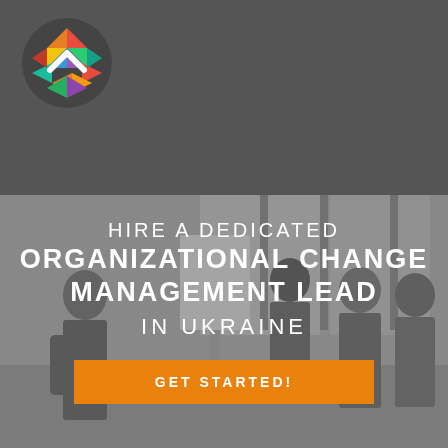[Figure (logo): Colorful mosaic circle logo with white chevron/arrow mark in the center, placed in the dark grey header bar]
[Figure (photo): Grayscale background photo of a group of people in a meeting/workshop setting, one person presenting at a whiteboard while others look on]
HIRE A DEDICATED ORGANIZATIONAL CHANGE MANAGEMENT LEAD IN UKRAINE
GET STARTED!